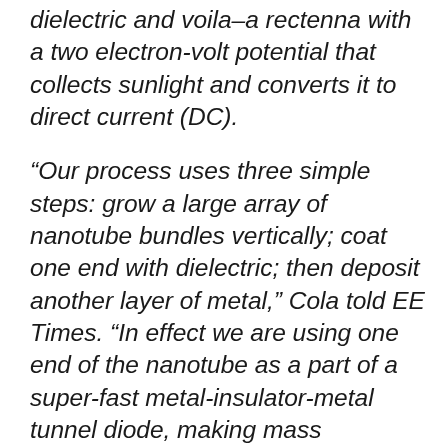dielectric and voila–a rectenna with a two electron-volt potential that collects sunlight and converts it to direct current (DC).
“Our process uses three simple steps: grow a large array of nanotube bundles vertically; coat one end with dielectric; then deposit another layer of metal,” Cola told EE Times. “In effect we are using one end of the nanotube as a part of a super-fast metal-insulator-metal tunnel diode, making mass production